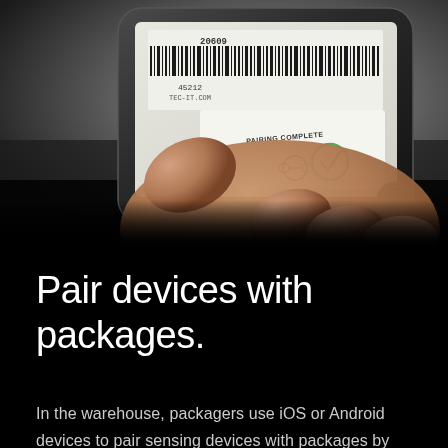[Figure (photo): A hand holding a dark smartphone displaying a barcode scanning app. The phone screen shows a barcode (with numbers 45212 and TEC-IT.COM visible), and a 'PAIRING COMPLETE' confirmation message with a green checkmark circle icon and a Bluetooth pairing icon. The background is blurred grey.]
Pair devices with packages.
In the warehouse, packagers use iOS or Android devices to pair sensing devices with packages by